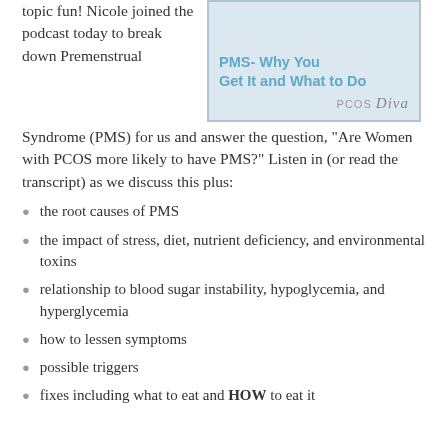topic fun! Nicole joined the podcast today to break down Premenstrual Syndrome (PMS) for us and answer the question, “Are Women with PCOS more likely to have PMS?” Listen in (or read the transcript) as we discuss this plus:
[Figure (illustration): Book or podcast cover image with title 'PMS- Why You Get It and What to Do' and PCOS Diva branding, with a light blue border and pastel background.]
the root causes of PMS
the impact of stress, diet, nutrient deficiency, and environmental toxins
relationship to blood sugar instability, hypoglycemia, and hyperglycemia
how to lessen symptoms
possible triggers
fixes including what to eat and HOW to eat it